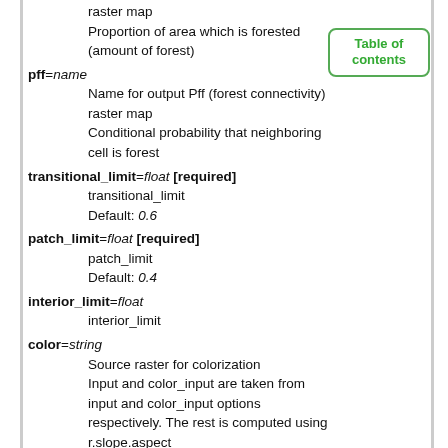Name for output Pff (forest area density) raster map
Proportion of area which is forested (amount of forest)
pff=name
Name for output Pff (forest connectivity) raster map
Conditional probability that neighboring cell is forest
transitional_limit=float [required]
transitional_limit
Default: 0.6
patch_limit=float [required]
patch_limit
Default: 0.4
interior_limit=float
interior_limit
color=string
Source raster for colorization
Input and color_input are taken from input and color_input options respectively. The rest is computed using r.slope.aspect
Options: sambale, riitters, perceptual
Default: sambale
sambale: Sambale, Stefan Sylla